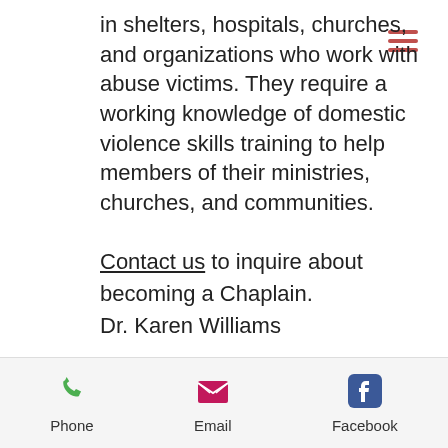in shelters, hospitals, churches, and organizations who work with abuse victims. They require a working knowledge of domestic violence skills training to help members of their ministries, churches, and communities.
Contact us to inquire about becoming a Chaplain.
Dr. Karen Williams
Phone | Email | Facebook